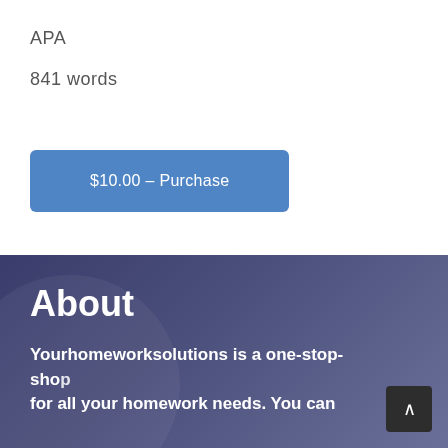APA
841 words
$10.00 – Purchase
About
Yourhomeworksolutions is a one-stop-shop for all your homework needs. You can